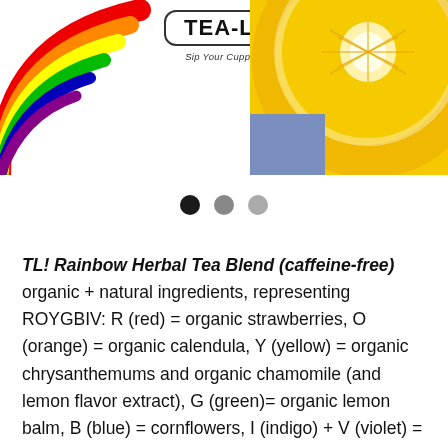[Figure (illustration): Rainbow arc illustration on left side of banner]
[Figure (logo): TEA-LATION!™ logo with tagline 'Sip Your Cuppa Healthy + Happy!']
[Figure (photo): Close-up photo of a lemon slice cross-section]
[Figure (infographic): Three dots pagination indicator: one black, two gray]
TL! Rainbow Herbal Tea Blend (caffeine-free) organic + natural ingredients, representing ROYGBIV: R (red) = organic strawberries, O (orange) = organic calendula, Y (yellow) = organic chrysanthemums and organic chamomile (and lemon flavor extract), G (green)= organic lemon balm, B (blue) = cornflowers, I (indigo) + V (violet) = organic lavender.
As a tea tribute for PRIDE WS and the LBGTQ community, I custom blended our TL! Rainbow Herbal